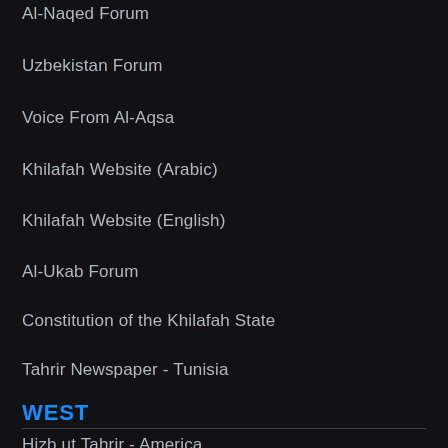Al-Naqed Forum
Uzbekistan Forum
Voice From Al-Aqsa
Khilafah Website (Arabic)
Khilafah Website (English)
Al-Ukab Forum
Constitution of the Khilafah State
Tahrir Newspaper - Tunisia
WEST
Hizb ut Tahrir - America